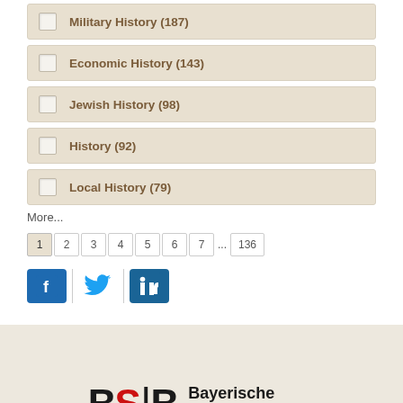Military History (187)
Economic History (143)
Jewish History (98)
History (92)
Local History (79)
More...
1 2 3 4 5 6 7 ... 136
[Figure (logo): Social media icons: Facebook, Twitter, LinkedIn]
[Figure (logo): Bayerische StaatsBibliothek logo with red S divider and tagline 'Information in erster Linie']